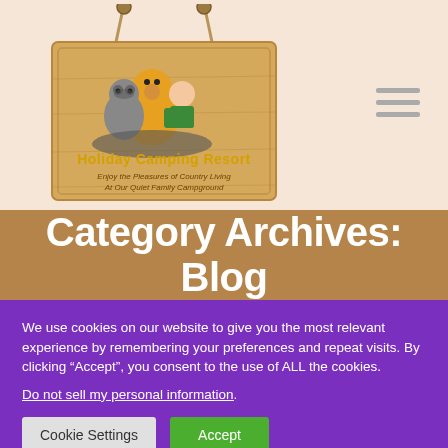[Figure (logo): Holiday Camping Resort wooden sign logo with camping characters (bear, raccoon, person) and text 'Holiday Camping Resort - Enjoy the Pleasures of Country Living At Our Quiet Family Campground']
Category Archives: Blog
We use cookies on our website to give you the most relevant experience by remembering your preferences and repeat visits. By clicking “Accept”, you consent to the use of ALL the cookies.
Do not sell my personal information.
Cookie Settings | Accept